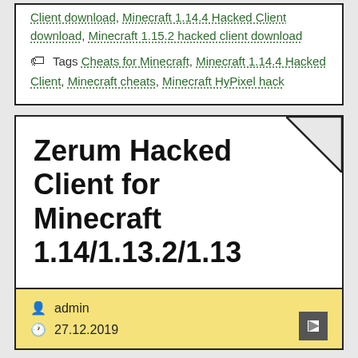Client download, Minecraft 1.14.4 Hacked Client download, Minecraft 1.15.2 hacked client download
Tags Cheats for Minecraft, Minecraft 1.14.4 Hacked Client, Minecraft cheats, Minecraft HyPixel hack
Zerum Hacked Client for Minecraft 1.14/1.13.2/1.13
admin
27.12.2019